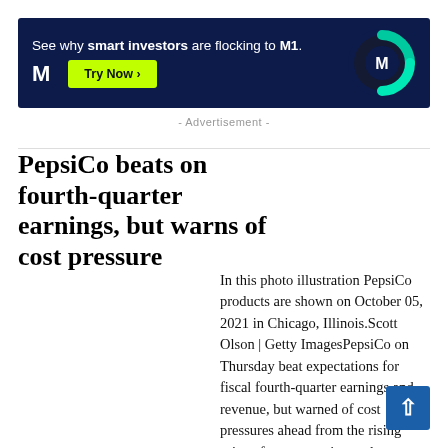[Figure (other): Advertisement banner for M1 investment platform. Dark navy background with text 'See why smart investors are flocking to M1.' and a yellow-green 'Try Now >' button, M logo on left, circular M1 logo graphic on right.]
- Advertisement -
PepsiCo beats on fourth-quarter earnings, but warns of cost pressure
In this photo illustration PepsiCo products are shown on October 05, 2021 in Chicago, Illinois.Scott Olson | Getty ImagesPepsiCo on Thursday beat expectations for fiscal fourth-quarter earnings and revenue, but warned of cost pressures ahead from the rising price of transportation and